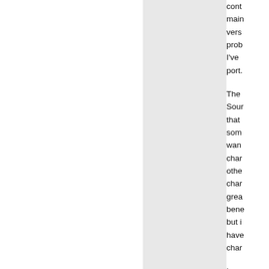cont main vers prob I've port.
The Sour that som wan char othe char grea bene but i have char
I wo disc of J